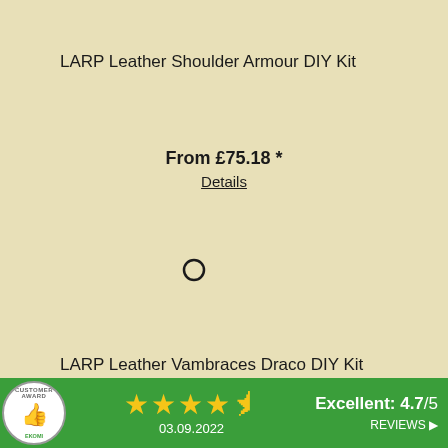LARP Leather Shoulder Armour DIY Kit
From £75.18 *
Details
[Figure (other): Small circle/ring icon used as a separator or product color swatch indicator]
LARP Leather Vambraces Draco DIY Kit
From £33.21 *
Details
Excellent: 4.7/5  03.09.2022  REVIEWS